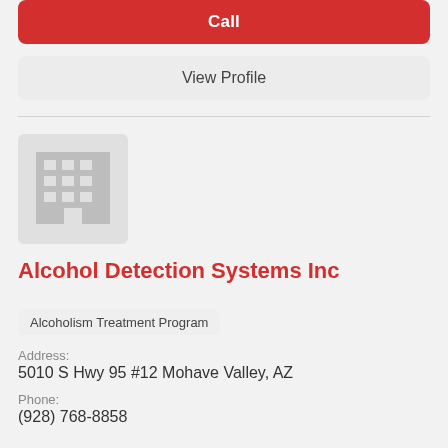Call
View Profile
[Figure (illustration): Placeholder building icon — gray square with a stylized office building (grid of windows and door)]
Alcohol Detection Systems Inc
Alcoholism Treatment Program
Address:
5010 S Hwy 95 #12 Mohave Valley, AZ
Phone:
(928) 768-8858
Call
View Profile